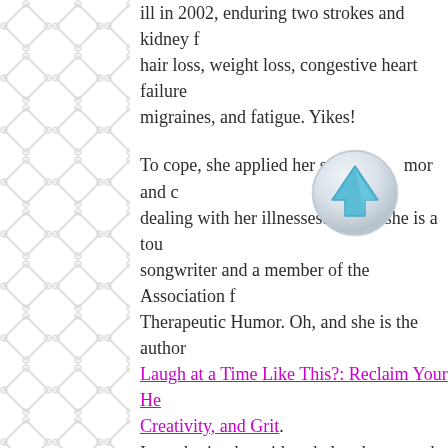[Figure (illustration): Decorative chain-link / diamond lattice pattern on the left side of the page in light gray]
ill in 2002, enduring two strokes and kidney f hair loss, weight loss, congestive heart failure migraines, and fatigue. Yikes!
[Figure (illustration): A circular scroll-to-top button with a light gray/silver gradient border and a blue upward arrow in the center]
To cope, she applied her sense of humor and dealing with her illnesses. Today she is a tou songwriter and a member of the Association f Therapeutic Humor. Oh, and she is the author Laugh at a Time Like This?: Reclaim Your He Creativity, and Grit. I am sharing her videos below because she is Enjoy!